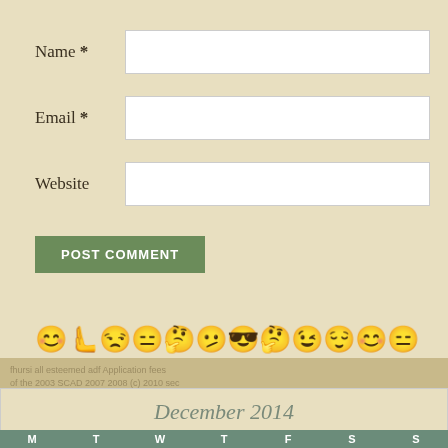Name *
Email *
Website
POST COMMENT
[Figure (illustration): Row of emoji/smiley face emoticons in yellow pixel art style, two rows]
[Figure (illustration): Background text/watermark area in tan/brown]
December 2014
| M | T | W | T | F | S | S |
| --- | --- | --- | --- | --- | --- | --- |